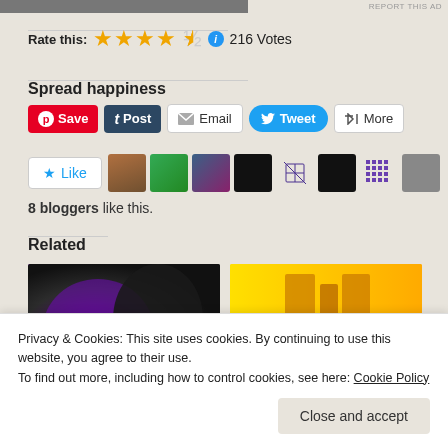Rate this: ★★★★½ ℹ 216 Votes
Spread happiness
Save | Post | Email | Tweet | More
Like — 8 bloggers like this.
Related
[Figure (photo): Two related post thumbnail images below the Related header]
Privacy & Cookies: This site uses cookies. By continuing to use this website, you agree to their use. To find out more, including how to control cookies, see here: Cookie Policy
Close and accept